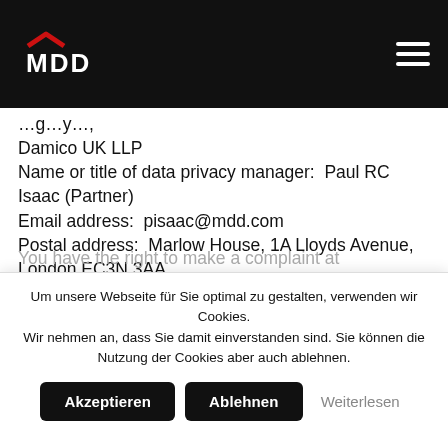MDD [logo]
Damico UK LLP
Name or title of data privacy manager:  Paul RC Isaac (Partner)
Email address:  pisaac@mdd.com
Postal address:  Marlow House, 1A Lloyds Avenue, London EC3N 3AA
Telephone number: 0203 384 5499
You have the right to make a complaint at
Um unsere Webseite für Sie optimal zu gestalten, verwenden wir Cookies. Wir nehmen an, dass Sie damit einverstanden sind. Sie können die Nutzung der Cookies aber auch ablehnen.
Akzeptieren  Ablehnen  Weiterlesen